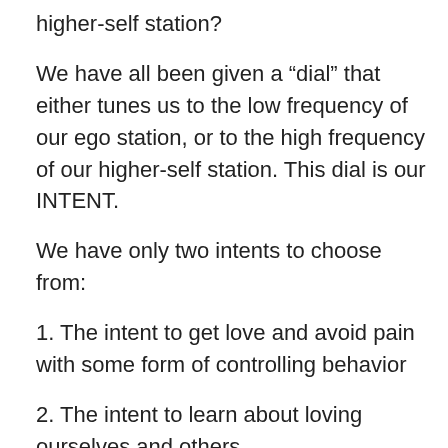higher-self station?
We have all been given a “dial” that either tunes us to the low frequency of our ego station, or to the high frequency of our higher-self station. This dial is our INTENT.
We have only two intents to choose from:
1. The intent to get love and avoid pain with some form of controlling behavior
2. The intent to learn about loving ourselves and others
The intent to have control over getting love and avoiding pain lowers our frequency and keeps us stuck in our limited mind – our ego